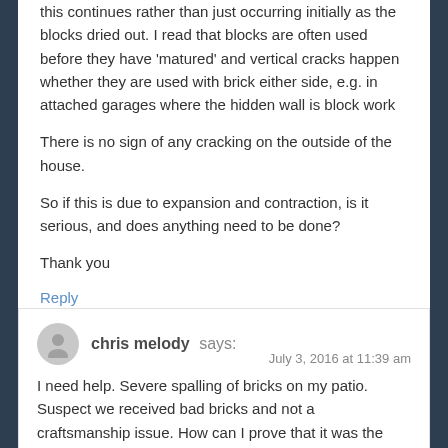this continues rather than just occurring initially as the blocks dried out. I read that blocks are often used before they have 'matured' and vertical cracks happen whether they are used with brick either side, e.g. in attached garages where the hidden wall is block work
There is no sign of any cracking on the outside of the house.
So if this is due to expansion and contraction, is it serious, and does anything need to be done?
Thank you
Reply
chris melody says: July 3, 2016 at 11:39 am
I need help. Severe spalling of bricks on my patio. Suspect we received bad bricks and not a craftsmanship issue. How can I prove that it was the brick and not the mortar?